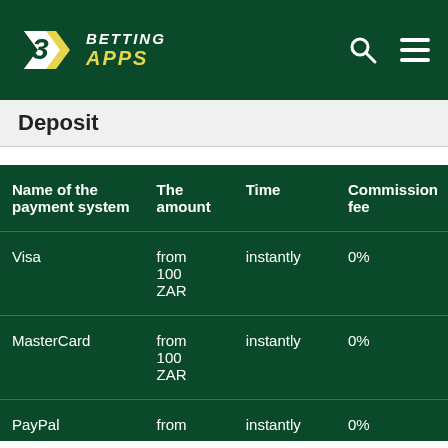BettingApps
Deposit
| Name of the payment system | The amount | Time | Commission fee |
| --- | --- | --- | --- |
| Visa | from 100 ZAR | instantly | 0% |
| MasterCard | from 100 ZAR | instantly | 0% |
| PayPal | from | instantly | 0% |